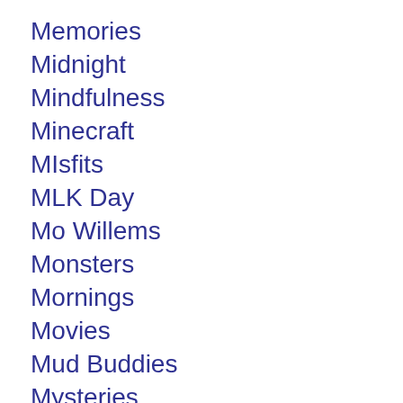Memories
Midnight
Mindfulness
Minecraft
MIsfits
MLK Day
Mo Willems
Monsters
Mornings
Movies
Mud Buddies
Mysteries
New Jammies
New Year